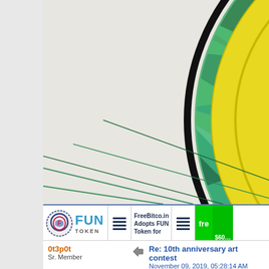[Figure (illustration): Colorful hand-drawn circular medallion/coin artwork featuring cryptocurrency symbols including Bitcoin (₿), Ethereum, Ripple (XRP), and others arranged in octagonal sections around the circle, colored with green, blue, yellow, brown, and teal hues on a light background. Partially cropped showing the lower-left portion of the circular design.]
[Figure (screenshot): Banner strip showing FUN Token advertisement with logo, text 'FUN TOKEN', menu icons, 'FreeBitco.in Adopts FUN Token for', and a green banner starting with 'fre' and '$600']
0t3p0t
Sr. Member
Re: 10th anniversary art contest
November 09, 2019, 05:28:14 AM